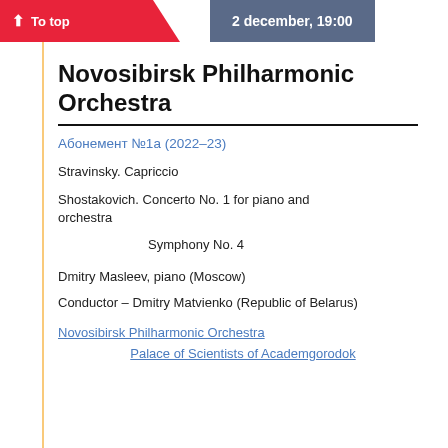↑ To top   2 december, 19:00
Novosibirsk Philharmonic Orchestra
Абонемент №1а (2022–23)
Stravinsky. Capriccio
Shostakovich. Concerto No. 1 for piano and orchestra
Symphony No. 4
Dmitry Masleev, piano (Moscow)
Conductor – Dmitry Matvienko (Republic of Belarus)
Novosibirsk Philharmonic Orchestra
Palace of Scientists of Academgorodok